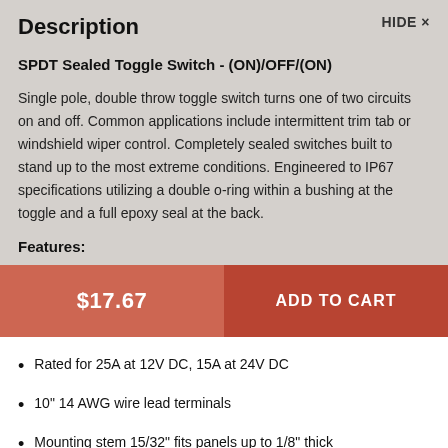Description
HIDE ×
SPDT Sealed Toggle Switch - (ON)/OFF/(ON)
Single pole, double throw toggle switch turns one of two circuits on and off. Common applications include intermittent trim tab or windshield wiper control. Completely sealed switches built to stand up to the most extreme conditions. Engineered to IP67 specifications utilizing a double o-ring within a bushing at the toggle and a full epoxy seal at the back.
Features:
$17.67
ADD TO CART
Rated for 25A at 12V DC, 15A at 24V DC
10" 14 AWG wire lead terminals
Mounting stem 15/32" fits panels up to 1/8" thick